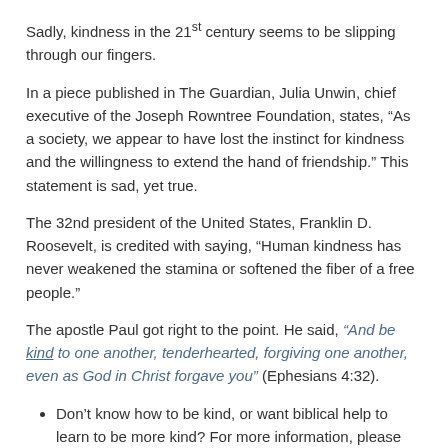Sadly, kindness in the 21st century seems to be slipping through our fingers.
In a piece published in The Guardian, Julia Unwin, chief executive of the Joseph Rowntree Foundation, states, “As a society, we appear to have lost the instinct for kindness and the willingness to extend the hand of friendship.” This statement is sad, yet true.
The 32nd president of the United States, Franklin D. Roosevelt, is credited with saying, “Human kindness has never weakened the stamina or softened the fiber of a free people.”
The apostle Paul got right to the point. He said, “And be kind to one another, tenderhearted, forgiving one another, even as God in Christ forgave you” (Ephesians 4:32).
Don’t know how to be kind, or want biblical help to learn to be more kind? For more information, please see our article “The Fruit of the Spirit: Kindness.” And for an explanation of the broader topic of conversion, please read our free, downloadable booklet Change Your Life.